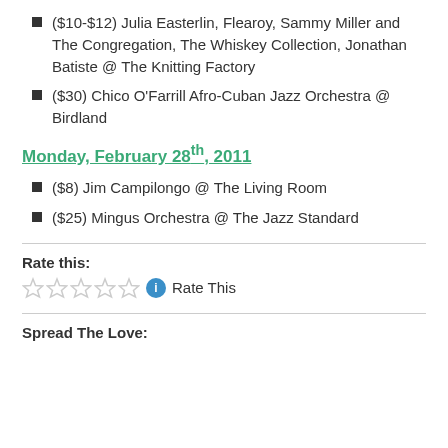($10-$12) Julia Easterlin, Flearoy, Sammy Miller and The Congregation, The Whiskey Collection, Jonathan Batiste @ The Knitting Factory
($30) Chico O'Farrill Afro-Cuban Jazz Orchestra @ Birdland
Monday, February 28th, 2011
($8) Jim Campilongo @ The Living Room
($25) Mingus Orchestra @ The Jazz Standard
Rate this:
Rate This
Spread The Love: